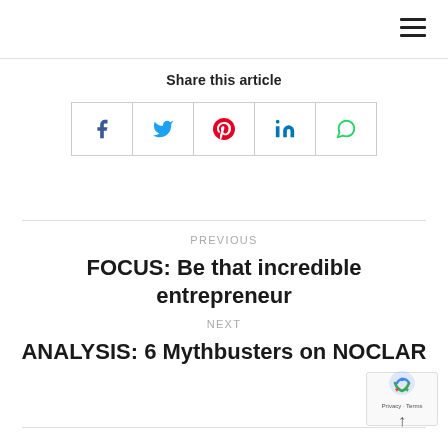☰ (hamburger menu icon)
Share this article
[Figure (other): Social share buttons: Facebook, Twitter, Pinterest, LinkedIn, WhatsApp]
PREVIOUS
FOCUS: Be that incredible entrepreneur
NEXT
ANALYSIS: 6 Mythbusters on NOCLAR